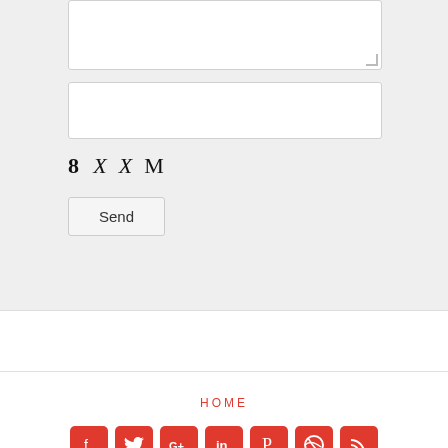[Figure (screenshot): Web form fragment showing a textarea (partially visible at top), a text input field, a CAPTCHA image displaying '8 X X M', and a Send button, all on a light gray background.]
HOME
[Figure (infographic): Row of 7 social media icon buttons (Facebook, Twitter, Google+, LinkedIn, Pinterest, Dribbble, RSS) in red with white icons on rounded square backgrounds.]
Peach Creek Vineyards, 2015